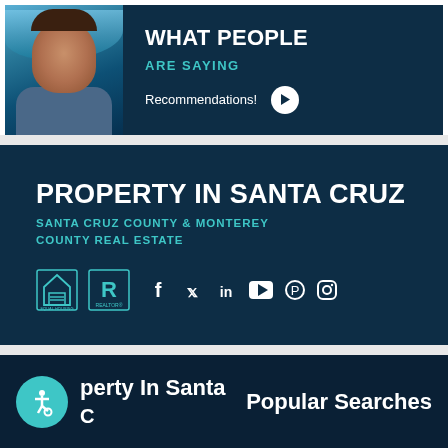[Figure (photo): Smiling man photo with ocean/wave background in dark navy banner]
WHAT PEOPLE
ARE SAYING
Recommendations!
PROPERTY IN SANTA CRUZ
SANTA CRUZ COUNTY & MONTEREY COUNTY REAL ESTATE
[Figure (logo): Equal Housing Opportunity logo and Realtor logo, plus social media icons: Facebook, Twitter, LinkedIn, YouTube, Pinterest, Instagram]
perty In Santa
Popular Searches